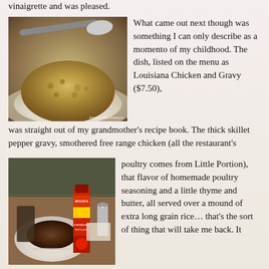vinaigrette and was pleased.
[Figure (photo): A bowl of Louisiana Chicken and Gravy with thick pepper gravy over rice, with a spoon, photo credit shown.]
What came out next though was something I can only describe as a momento of my childhood. The dish, listed on the menu as Louisiana Chicken and Gravy ($7.50), was straight out of my grandmother’s recipe book. The thick skillet pepper gravy, smothered free range chicken (all the restaurant’s poultry comes from Little Portion), that flavor of homemade poultry seasoning and a little thyme and butter, all served over a mound of extra long grain rice… that’s the sort of thing that will take me back. It
[Figure (photo): A plate of dark stewed food with a bottle of Louisiana Hot Sauce and salt/pepper shakers on a restaurant table.]